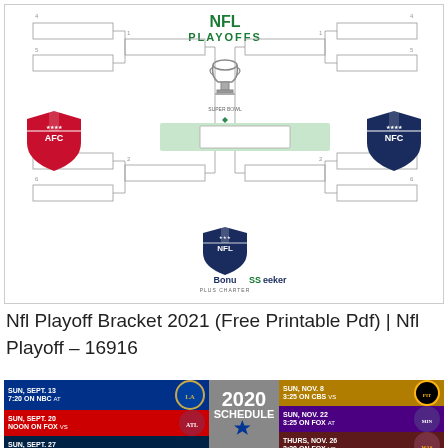[Figure (other): NFL Playoffs bracket diagram showing AFC and NFC brackets converging at the Super Bowl trophy in the center, with empty team slots and AFC/NFC shield logos on sides. BonuSSSeeker logo at bottom.]
Nfl Playoff Bracket 2021 (Free Printable Pdf) | Nfl Playoff – 16916
[Figure (infographic): 2020 NFL Schedule infographic showing game dates, times, networks, and opponent team logos. Left side shows SUN SEPT 13 7:20 ON NBC AT [Rams], SUN SEPT 20 NOON ON FOX VS [Falcons], SUN SEPT 27 3:25 ON FOX AT [Seahawks], SUN OCT 4 [Browns]. Center shows 2020 SCHEDULE with Cowboys logo. Right side shows SUN NOV 8 3:25 ON CBS VS [Steelers], SUN NOV 22 3:25 ON FOX AT [Vikings], THURS NOV 26 3:30 ON FOX VS [Washington], THURS DEC 3.]